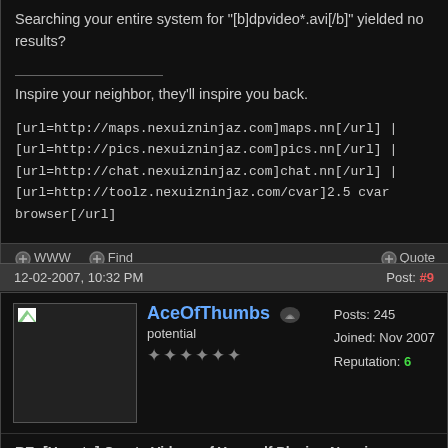Searching your entire system for "[b]dpvideo*.avi[/b]" yielded no results?
Inspire your neighbor, they'll inspire you back.
[url=http://maps.nexuizninjaz.com]maps.nn[/url] | [url=http://pics.nexuizninjaz.com]pics.nn[/url] | [url=http://chat.nexuizninjaz.com]chat.nn[/url] | [url=http://toolz.nexuizninjaz.com/cvar]2.5 cvar browser[/url]
WWW   Find   Quote
12-02-2007, 10:32 PM   Post: #9
AceOfThumbs   Posts: 245   Joined: Nov 2007   Reputation: 6   potential
RE: [How-to] Create Videos of Yourself Playing Nexuiz
Using the instructions for Mac OS X that I gave above, you should get a finder window for the .nexuiz folder. Inside this folder is a data folder. Inside the data folder you should see the video folder.
So much to do, so little time to do it.